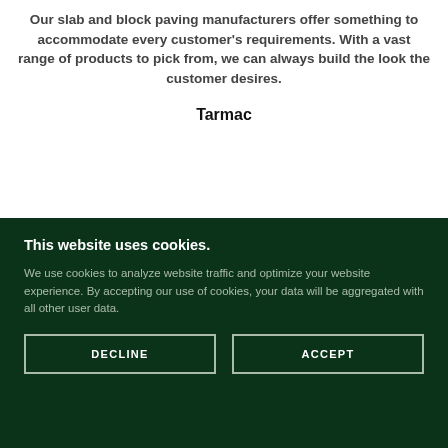Our slab and block paving manufacturers offer something to accommodate every customer's requirements. With a vast range of products to pick from, we can always build the look the customer desires.
Tarmac
This website uses cookies.
We use cookies to analyze website traffic and optimize your website experience. By accepting our use of cookies, your data will be aggregated with all other user data.
DECLINE
ACCEPT